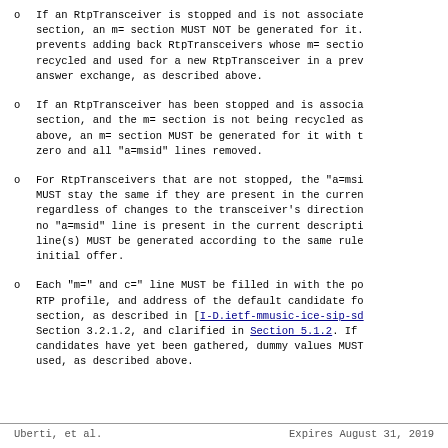If an RtpTransceiver is stopped and is not associated with an m= section, an m= section MUST NOT be generated for it. This prevents adding back RtpTransceivers whose m= section index was recycled and used for a new RtpTransceiver in a previous offer/answer exchange, as described above.
If an RtpTransceiver has been stopped and is associated with an m= section, and the m= section is not being recycled as described above, an m= section MUST be generated for it with the port set to zero and all "a=msid" lines removed.
For RtpTransceivers that are not stopped, the "a=msid" line(s) MUST stay the same if they are present in the current description, regardless of changes to the transceiver's direction. However, if no "a=msid" line is present in the current description, "a=msid" line(s) MUST be generated according to the same rules as the initial offer.
Each "m=" and c=" line MUST be filled in with the port, RTP profile, and address of the default candidate for the m= section, as described in [I-D.ietf-mmusic-ice-sip-sdp], Section 3.2.1.2, and clarified in Section 5.1.2. If no candidates have yet been gathered, dummy values MUST be used, as described above.
Uberti, et al.          Expires August 31, 2019